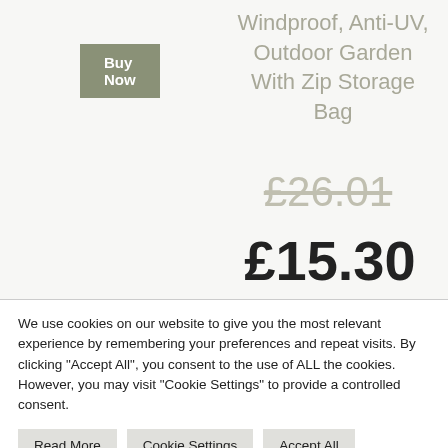Buy Now
Windproof, Anti-UV, Outdoor Garden With Zip Storage Bag
£26.01
£15.30
We use cookies on our website to give you the most relevant experience by remembering your preferences and repeat visits. By clicking "Accept All", you consent to the use of ALL the cookies. However, you may visit "Cookie Settings" to provide a controlled consent.
Read More
Cookie Settings
Accept All